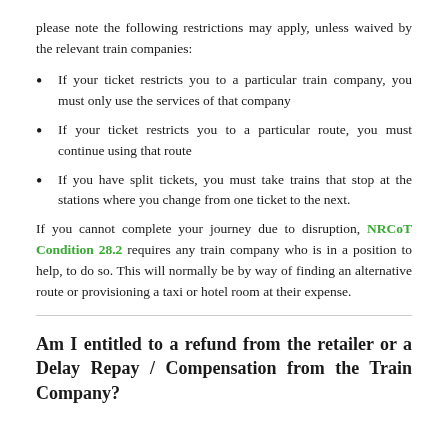please note the following restrictions may apply, unless waived by the relevant train companies:
If your ticket restricts you to a particular train company, you must only use the services of that company
If your ticket restricts you to a particular route, you must continue using that route
If you have split tickets, you must take trains that stop at the stations where you change from one ticket to the next.
If you cannot complete your journey due to disruption, NRCoT Condition 28.2 requires any train company who is in a position to help, to do so. This will normally be by way of finding an alternative route or provisioning a taxi or hotel room at their expense.
Am I entitled to a refund from the retailer or a Delay Repay / Compensation from the Train Company?